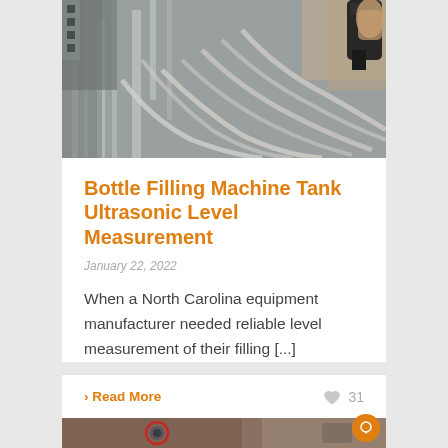[Figure (photo): Industrial bottle filling machine with metal tubes, hoses, and a hand holding a sensor device in the top right corner]
Bottle Filling Machine Tank Ultrasonic Level Measurement
January 22, 2022
When a North Carolina equipment manufacturer needed reliable level measurement of their filling [...]
› Read More
31
[Figure (photo): Close-up photo of industrial pipe/drain equipment with a red circle marking and metal hardware]